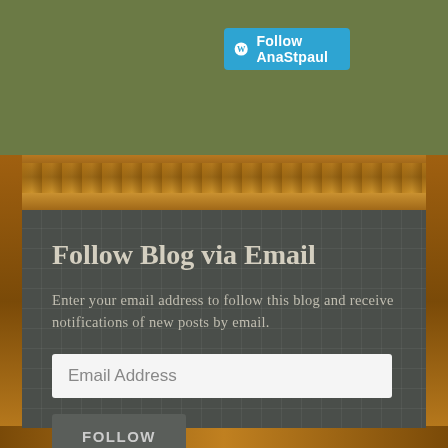[Figure (screenshot): WordPress 'Follow AnaStpaul' button in blue at top of page]
Follow Blog via Email
Enter your email address to follow this blog and receive notifications of new posts by email.
[Figure (screenshot): Email Address input field (white text box)]
[Figure (screenshot): FOLLOW button (dark gray button)]